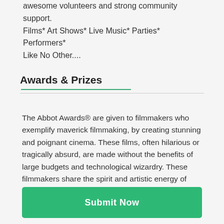awesome volunteers and strong community support. Films* Art Shows* Live Music* Parties* Performers* Like No Other....
Awards & Prizes
The Abbot Awards® are given to filmmakers who exemplify maverick filmmaking, by creating stunning and poignant cinema. These films, often hilarious or tragically absurd, are made without the benefits of large budgets and technological wizardry. These filmmakers share the spirit and artistic energy of Venice's founding father Abbot Kinney. In honoring these filmmakers who adhere to their singular vision, we honor our Venetian benefactor, Abbot Kinney. All films that screen at the festival, with the exception of Spotlight Screenings, are in competition for an Abbot®. Short films as well as features qualify for Audience Choice
Submit Now